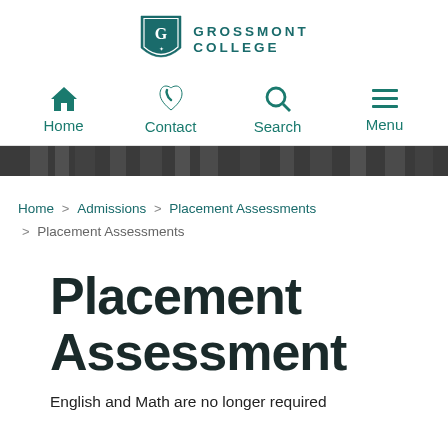[Figure (logo): Grossmont College shield logo with stylized G and lion, next to the text GROSSMONT COLLEGE in teal/green]
Home   Contact   Search   Menu
[Figure (photo): Dark horizontal photo banner showing building windows/architecture]
Home > Admissions > Placement Assessments > Placement Assessments
Placement Assessment
English and Math are no longer required